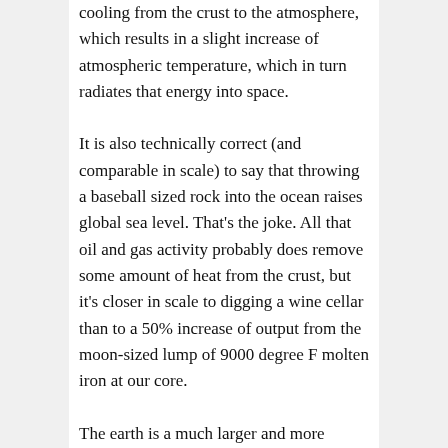cooling from the crust to the atmosphere, which results in a slight increase of atmospheric temperature, which in turn radiates that energy into space.
It is also technically correct (and comparable in scale) to say that throwing a baseball sized rock into the ocean raises global sea level. That's the joke. All that oil and gas activity probably does remove some amount of heat from the crust, but it's closer in scale to digging a wine cellar than to a 50% increase of output from the moon-sized lump of 9000 degree F molten iron at our core.
The earth is a much larger and more energetic system than our entire